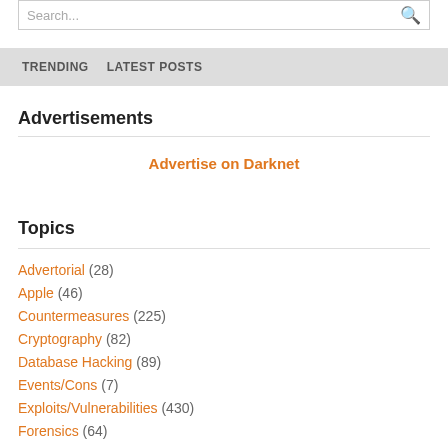Search...
TRENDING    LATEST POSTS
Advertisements
Advertise on Darknet
Topics
Advertorial (28)
Apple (46)
Countermeasures (225)
Cryptography (82)
Database Hacking (89)
Events/Cons (7)
Exploits/Vulnerabilities (430)
Forensics (64)
Hacker Culture (8)